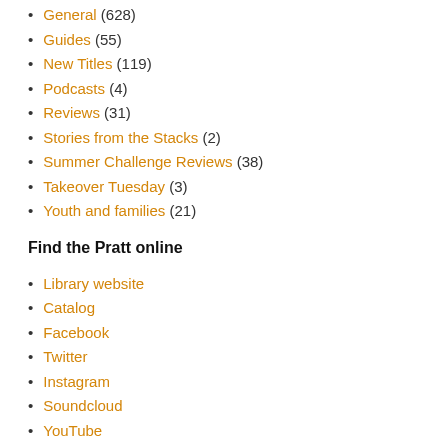General (628)
Guides (55)
New Titles (119)
Podcasts (4)
Reviews (31)
Stories from the Stacks (2)
Summer Challenge Reviews (38)
Takeover Tuesday (3)
Youth and families (21)
Find the Pratt online
Library website
Catalog
Facebook
Twitter
Instagram
Soundcloud
YouTube